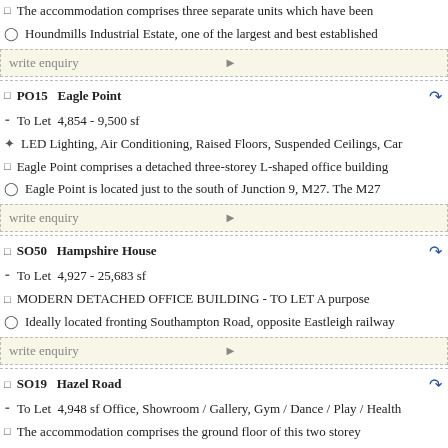The accommodation comprises three separate units which have been
Houndmills Industrial Estate, one of the largest and best established
write enquiry
PO15   Eagle Point
To Let   4,854 - 9,500 sf
LED Lighting, Air Conditioning, Raised Floors, Suspended Ceilings, Car
Eagle Point comprises a detached three-storey L-shaped office building
Eagle Point is located just to the south of Junction 9, M27. The M27
write enquiry
SO50   Hampshire House
To Let   4,927 - 25,683 sf
MODERN DETACHED OFFICE BUILDING - TO LET A purpose
Ideally located fronting Southampton Road, opposite Eastleigh railway
write enquiry
SO19   Hazel Road
To Let   4,948 sf Office, Showroom / Gallery, Gym / Dance / Play / Health
The accommodation comprises the ground floor of this two storey